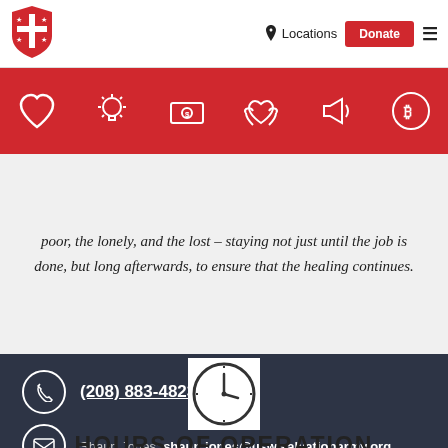[Figure (logo): The Salvation Army red shield logo]
Locations
Donate
[Figure (illustration): Red navigation icon bar with heart, lightbulb, dollar sign, hands, megaphone, and bitcoin icons]
poor, the lonely, and the lost – staying not just until the job is done, but long afterwards, to ensure that the healing continues.
(208) 883-4823
Shaun Jones:  shaun.jones@usw.salvationarmy.org
[Figure (illustration): Clock icon outline]
HOURS OF OPERATION